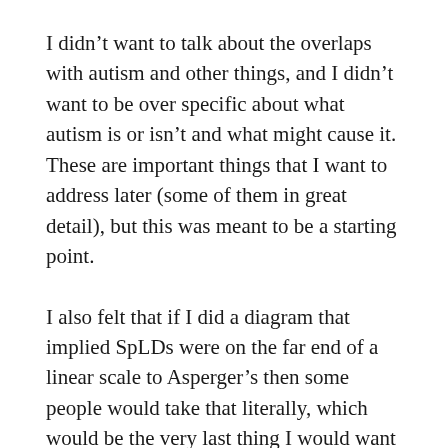I didn't want to talk about the overlaps with autism and other things, and I didn't want to be over specific about what autism is or isn't and what might cause it. These are important things that I want to address later (some of them in great detail), but this was meant to be a starting point.
I also felt that if I did a diagram that implied SpLDs were on the far end of a linear scale to Asperger's then some people would take that literally, which would be the very last thing I would want anyone to do given that all these things overlap each other greatly. It is far more the colour wheel than the linear scale, so I didn't want to go off on a digression that